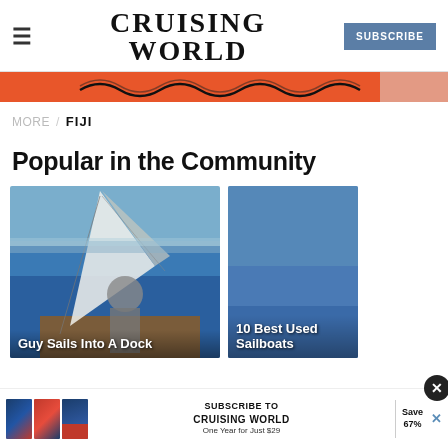CRUISING WORLD | SUBSCRIBE
[Figure (illustration): Orange advertisement banner with wave design at top of page]
MORE / FIJI
Popular in the Community
[Figure (photo): Man sailing a boat on the water with sail visible and waterfront in background. Caption: Guy Sails Into A Dock]
[Figure (photo): Blue sky/water photo. Caption: 10 Best Used Sailboats]
[Figure (advertisement): Subscribe to Cruising World advertisement banner: One Year for Just $29, Save 67%]